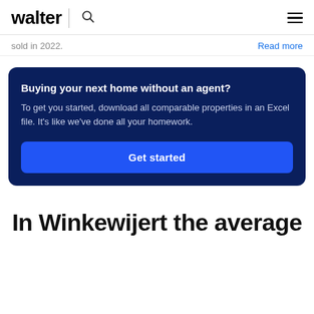walter
sold in 2022.
Read more
Buying your next home without an agent?
To get you started, download all comparable properties in an Excel file. It's like we've done all your homework.
Get started
In Winkewijert the average